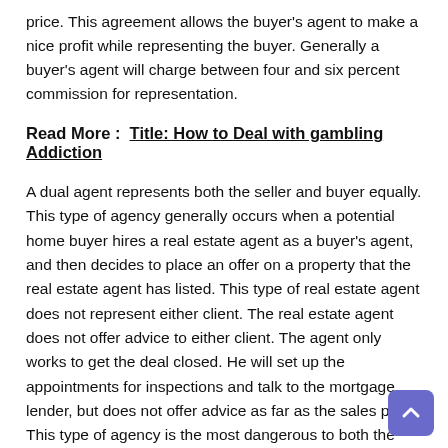price. This agreement allows the buyer's agent to make a nice profit while representing the buyer. Generally a buyer's agent will charge between four and six percent commission for representation.
Read More :  Title: How to Deal with gambling Addiction
A dual agent represents both the seller and buyer equally. This type of agency generally occurs when a potential home buyer hires a real estate agent as a buyer's agent, and then decides to place an offer on a property that the real estate agent has listed. This type of real estate agent does not represent either client. The real estate agent does not offer advice to either client. The agent only works to get the deal closed. He will set up the appointments for inspections and talk to the mortgage lender, but does not offer advice as far as the sales price. This type of agency is the most dangerous to both the real estate agent and the buyer and seller. The legal waters are quite murky in this type of agency, and should be avoided if at all possible.